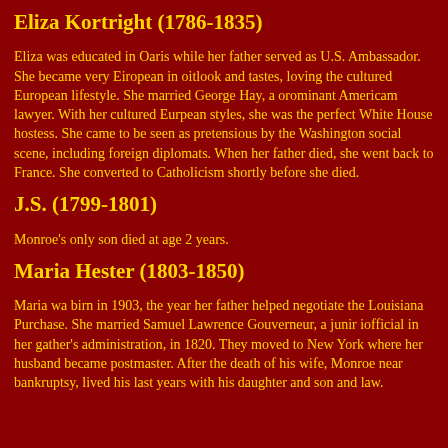Eliza Kortright (1786-1835)
Eliza was educated in Oaris while her father served as U.S. Ambassador. She became very Eiropean in oitlook and tastes, loving the cultured European lifestyle. She married George Hay, a orominant Americam lawyer. With her cultured Eurpean styles, she was the perfect White House hostess. She came to be seen as pretensious by the Washington social scene, including foreign diplomats. When her father died, she went back to France. She converted to Catholicism shortly before she died.
J.S. (1799-1801)
Monroe's only son died at age 2 years.
Maria Hester (1803-1850)
Maria wa birn in 1903, the year her father helped negotiate the Louisiana Purchase. She married Samuel Lawrence Gouverneur, a junir iofficial in her gather's administration, in 1820. They moved to New York where her husband became postmaster. After the death of his wife, Monroe near bankruptsy, lived his last years with his daughter and son and law.